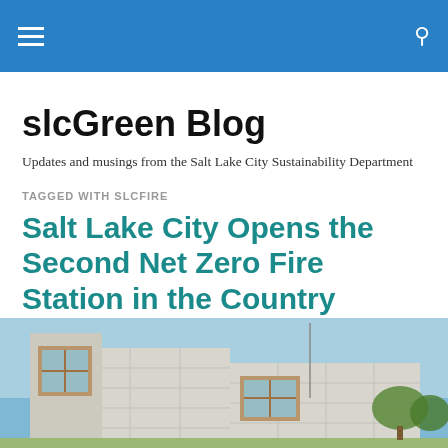slcGreen Blog — navigation bar with hamburger menu and search icon
slcGreen Blog
Updates and musings from the Salt Lake City Sustainability Department
TAGGED WITH SLCFIRE
Salt Lake City Opens the Second Net Zero Fire Station in the Country
[Figure (photo): Exterior photograph of a modern fire station building with white paneling and wood-accented windows against a blue sky]